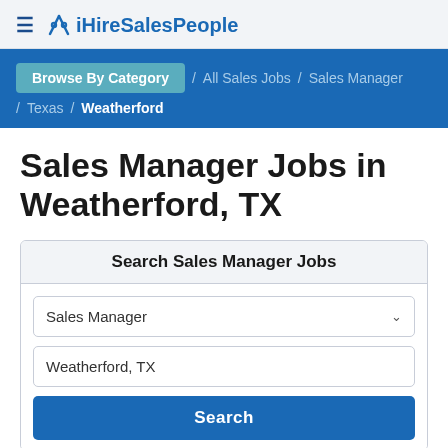iHireSalesPeople
Browse By Category / All Sales Jobs / Sales Manager / Texas / Weatherford
Sales Manager Jobs in Weatherford, TX
Search Sales Manager Jobs
Sales Manager
Weatherford, TX
Search